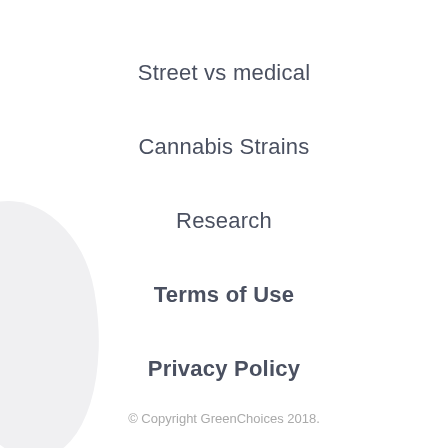Street vs medical
Cannabis Strains
Research
Terms of Use
Privacy Policy
© Copyright GreenChoices 2018.